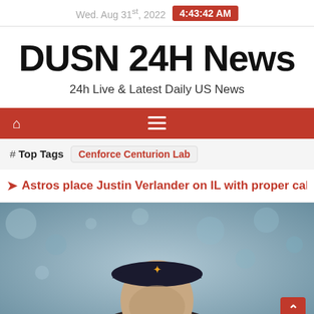Wed. Aug 31st, 2022 4:43:42 AM
DUSN 24H News
24h Live & Latest Daily US News
[Figure (other): Red navigation bar with home icon and hamburger menu]
# Top Tags  Cenforce Centurion Lab
Astros place Justin Verlander on IL with proper calf conce
[Figure (photo): Photo of a baseball player wearing an Astros cap, bokeh background]